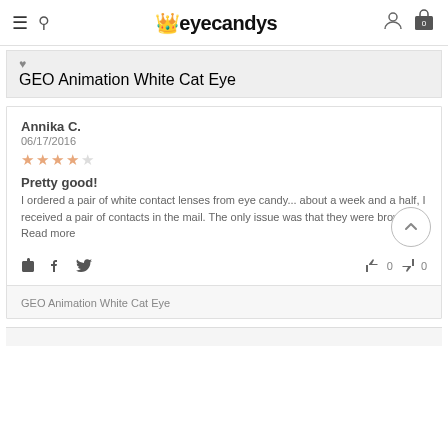eyecandys
GEO Animation White Cat Eye
Annika C.
06/17/2016
★★★★☆
Pretty good!
I ordered a pair of white contact lenses from eye candy... about a week and a half, I received a pair of contacts in the mail. The only issue was that they were brown... Read more
GEO Animation White Cat Eye